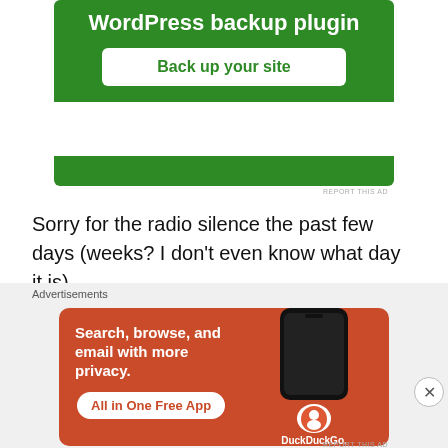[Figure (screenshot): Green advertisement banner for WordPress backup plugin with 'Back up your site' button]
REPORT THIS AD
Sorry for the radio silence the past few days (weeks? I don't even know what day it is).
I wish I could combine, in some way sum up, all the travel I have ever done in my life for this travel reflection. To keep this from getting out of control, I cut it down to these six similar images. It's funny, all these pictures are all qui
Advertisements
[Figure (screenshot): Orange DuckDuckGo advertisement: 'Search, browse, and email with more privacy. All in One Free App' with phone image and DuckDuckGo logo]
REPORT THIS AD